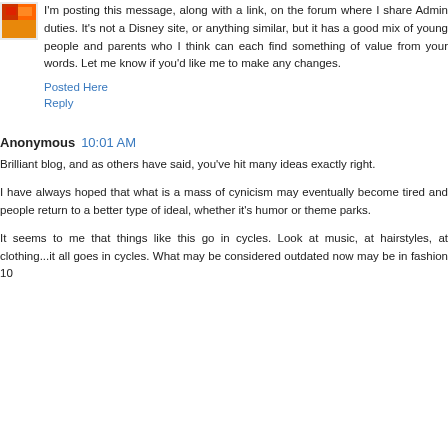[Figure (illustration): Small avatar image with orange/red colors]
I'm posting this message, along with a link, on the forum where I share Admin duties. It's not a Disney site, or anything similar, but it has a good mix of young people and parents who I think can each find something of value from your words. Let me know if you'd like me to make any changes.
Posted Here
Reply
Anonymous 10:01 AM
Brilliant blog, and as others have said, you've hit many ideas exactly right.
I have always hoped that what is a mass of cynicism may eventually become tired and people return to a better type of ideal, whether it's humor or theme parks.
It seems to me that things like this go in cycles. Look at music, at hairstyles, at clothing...it all goes in cycles. What may be considered outdated now may be in fashion 10